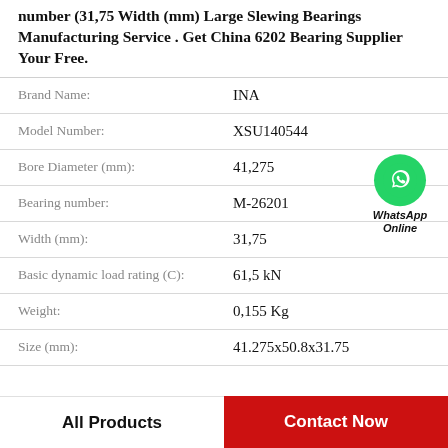number (31,75 Width (mm) Large Slewing Bearings Manufacturing Service . Get China 6202 Bearing Supplier Your Free.
| Property | Value |
| --- | --- |
| Brand Name: | INA |
| Model Number: | XSU140544 |
| Bore Diameter (mm): | 41,275 |
| Bearing number: | M-26201 |
| Width (mm): | 31,75 |
| Basic dynamic load rating (C): | 61,5 kN |
| Weight: | 0,155 Kg |
| Size (mm): | 41.275x50.8x31.75 |
[Figure (logo): WhatsApp Online green circle phone icon badge with text WhatsApp Online]
All Products
Contact Now